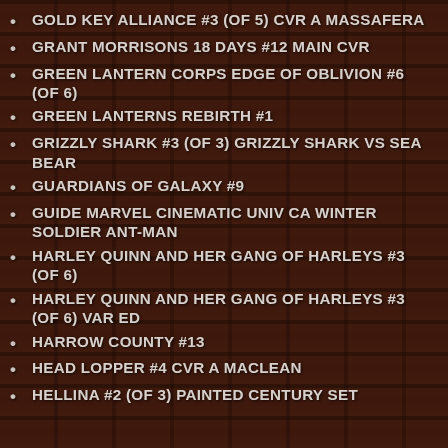GOLD KEY ALLIANCE #3 (OF 5) CVR A MASSAFERA
GRANT MORRISONS 18 DAYS #12 MAIN CVR
GREEN LANTERN CORPS EDGE OF OBLIVION #6 (OF 6)
GREEN LANTERNS REBIRTH #1
GRIZZLY SHARK #3 (OF 3) GRIZZLY SHARK VS SEA BEAR
GUARDIANS OF GALAXY #9
GUIDE MARVEL CINEMATIC UNIV CA WINTER SOLDIER ANT-MAN
HARLEY QUINN AND HER GANG OF HARLEYS #3 (OF 6)
HARLEY QUINN AND HER GANG OF HARLEYS #3 (OF 6) VAR ED
HARROW COUNTY #13
HEAD LOPPER #4 CVR A MACLEAN
HELLINA #2 (OF 3) PAINTED CENTURY SET